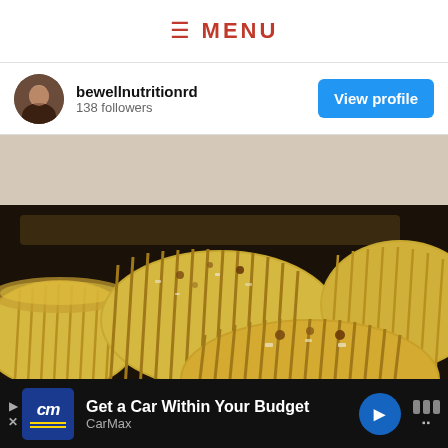≡ MENU
bewellnutritionrd
138 followers
[Figure (photo): Close-up photo of hasselback potatoes on a baking tray, showing sliced golden-brown roasted potatoes with seasoning]
[Figure (photo): Advertisement bar: CarMax - Get a Car Within Your Budget]